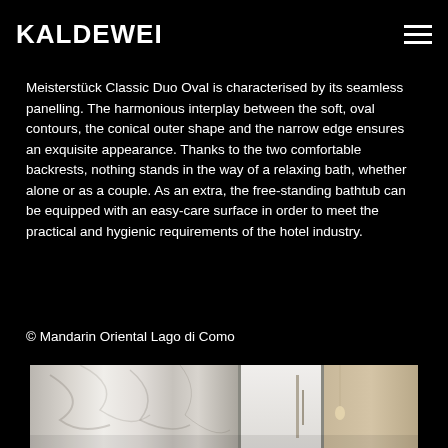KALDEWEI
Meisterstück Classic Duo Oval is characterised by its seamless panelling. The harmonious interplay between the soft, oval contours, the conical outer shape and the narrow edge ensures an exquisite appearance. Thanks to the two comfortable backrests, nothing stands in the way of a relaxing bath, whether alone or as a couple. As an extra, the free-standing bathtub can be equipped with an easy-care surface in order to meet the practical and hygienic requirements of the hotel industry.
© Mandarin Oriental Lago di Como
[Figure (photo): Interior bathroom photo showing marble wall panel, mirror, and warm-toned fixtures at the Mandarin Oriental Lago di Como]